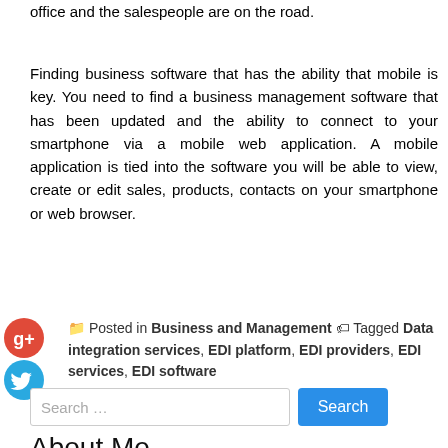office and the salespeople are on the road.
Finding business software that has the ability that mobile is key. You need to find a business management software that has been updated and the ability to connect to your smartphone via a mobile web application. A mobile application is tied into the software you will be able to view, create or edit sales, products, contacts on your smartphone or web browser.
Posted in Business and Management Tagged Data integration services, EDI platform, EDI providers, EDI services, EDI software
About Me